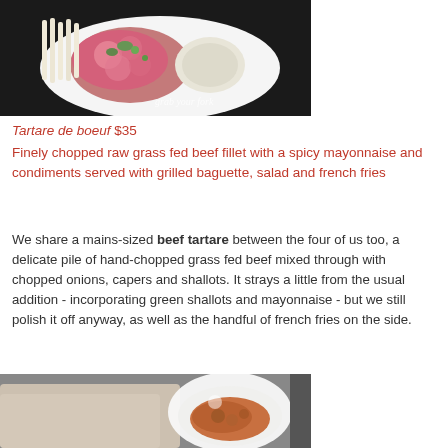[Figure (photo): Close-up of beef tartare on a white plate with french fries and a creamy sauce, with 'grab your fork' watermark]
Tartare de boeuf $35
Finely chopped raw grass fed beef fillet with a spicy mayonnaise and condiments served with grilled baguette, salad and french fries
We share a mains-sized beef tartare between the four of us too, a delicate pile of hand-chopped grass fed beef mixed through with chopped onions, capers and shallots. It strays a little from the usual addition - incorporating green shallots and mayonnaise - but we still polish it off anyway, as well as the handful of french fries on the side.
[Figure (photo): Blurred photo of a dish in a white bowl, appears to be a stew or braised dish, with a cloth napkin in foreground]